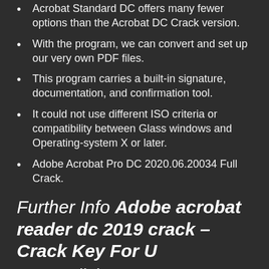Acrobat Standard DC offers many fewer options than the Acrobat DC Crack version.
With the program, we can convert and set up our very own PDF files.
This program carries a built-in signature, documentation, and confirmation tool.
It could not use different ISO criteria or compatibility between Glass windows and Operating-system X or later.
Adobe Acrobat Pro DC 2020.06.20034 Full Crack.
Further Info Adobe acrobat reader dc 2019 crack – Crack Key For U
English